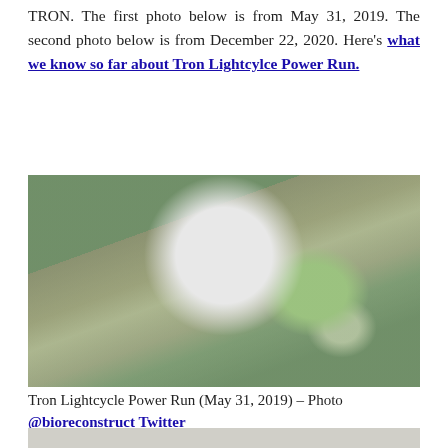TRON. The first photo below is from May 31, 2019. The second photo below is from December 22, 2020. Here's what we know so far about Tron Lightcylce Power Run.
[Figure (photo): Aerial photograph of Tron Lightcycle Power Run construction site at Magic Kingdom, showing the large dome structure, surrounding construction area, forested land, and nearby Fantasyland attractions. Taken May 31, 2019.]
Tron Lightcycle Power Run (May 31, 2019) – Photo @bioreconstruct Twitter
[Figure (photo): Partial aerial photograph of Tron Lightcycle Power Run construction site, December 22, 2020. Only the top portion is visible.]